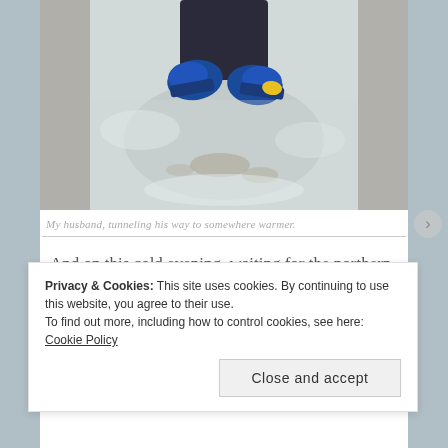[Figure (photo): Person lying in snow tunnel, viewed from above, wearing blue and yellow sneakers and dark pants. Snow surrounds them with some dirt patches visible.]
My husband, tunneling his way to somewhere warmer.
And on this cold evening, waiting for the northern lights to appear, my son decided to put on some TobyMac.
Privacy & Cookies: This site uses cookies. By continuing to use this website, you agree to their use.
To find out more, including how to control cookies, see here: Cookie Policy
Close and accept